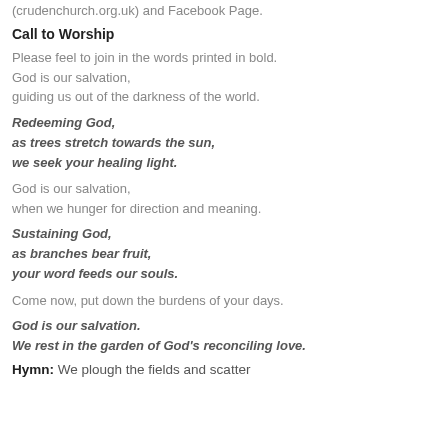(crudenchurch.org.uk) and Facebook Page.
Call to Worship
Please feel to join in the words printed in bold.
God is our salvation,
guiding us out of the darkness of the world.
Redeeming God,
as trees stretch towards the sun,
we seek your healing light.
God is our salvation,
when we hunger for direction and meaning.
Sustaining God,
as branches bear fruit,
your word feeds our souls.
Come now, put down the burdens of your days.
God is our salvation.
We rest in the garden of God's reconciling love.
Hymn: We plough the fields and scatter